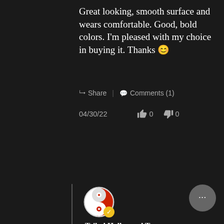Great looking, smooth surface and wears comfortable. Good, bold colors. I'm pleased with my choice in buying it. Thanks ☺
Share   |   Comments (1)
04/30/22   👍 0   👎 0
[Figure (photo): Yin-yang logo avatar for Tribal Hollywood Team with gold verified checkmark badge]
Tribal Hollywood Team
Hello Thomas,
I am so pleased to hear that you are happy with your decision. The Aurem Cross is a beautiful necklace. Not only beautiful in form, but even lovelier to see up close. What great choice.
I hope you have had an